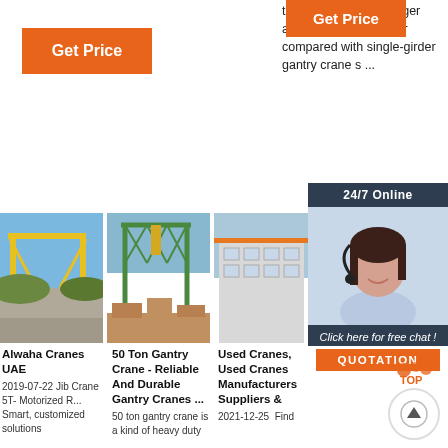their own quality is larger and their cost is higher compared with single-girder gantry crane s ...
[Figure (screenshot): Orange 'Get Price' button on left side]
[Figure (screenshot): Orange 'Get Price' button in center]
[Figure (screenshot): Orange 'Get Price' button on right side]
[Figure (photo): Yellow gantry crane at construction site - Alwaha Cranes UAE]
[Figure (photo): Green 50 ton gantry crane - 50 Ton Gantry Crane - Reliable And Durable Gantry Cranes]
[Figure (photo): Industrial crane in building - Used Cranes, Used Cranes Manufacturers Suppliers]
[Figure (infographic): 24/7 Online chat panel with agent photo and QUOTATION button]
Alwaha Cranes UAE
2019-07-22 Jib Crane 5T- Motorized R... Smart, customized solutions
50 Ton Gantry Crane - Reliable And Durable Gantry Cranes ...
50 ton gantry crane is a kind of heavy duty
Used Cranes, Used Cranes Manufacturers Suppliers &
2021-12-25u2003u2003Find